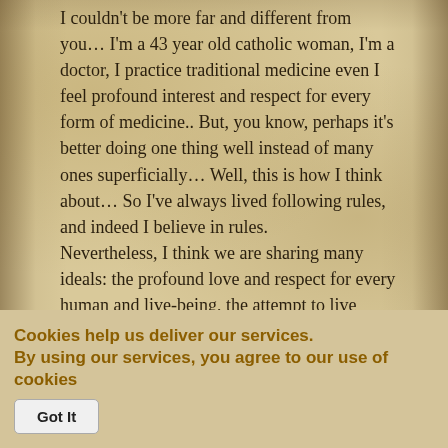I couldn't be more far and different from you… I'm a 43 year old catholic woman, I'm a doctor, I practice traditional medicine even I feel profound interest and respect for every form of medicine.. But, you know, perhaps it's better doing one thing well instead of many ones superficially… Well, this is how I think about… So I've always lived following rules, and indeed I believe in rules.
Nevertheless, I think we are sharing many ideals: the profound love and respect for every human and live-being, the attempt to live sobriety for our's and all the planet's health, the rebellion against the politic and economic
Cookies help us deliver our services.
By using our services, you agree to our use of cookies
Learn More
Got It